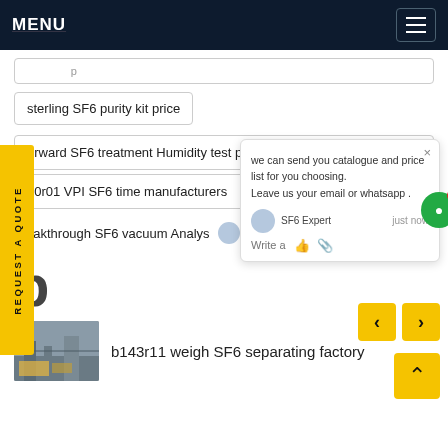MENU
sterling SF6 purity kit price
orward SF6 treatment Humidity test p
70r01 VPI SF6 time manufacturers
eakthrough SF6 vacuum Analys
p
b143r11 weigh SF6 separating factory
[Figure (photo): Industrial scene with construction equipment and electrical infrastructure]
we can send you catalogue and price list for you choosing. Leave us your email or whatsapp .
SF6 Expert    just now
Write a
REQUEST A QUOTE